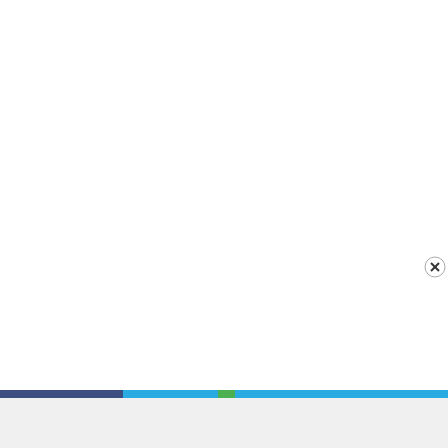[Figure (screenshot): Video thumbnail of a Liverpool FC vs Bournemouth match scoreboard showing Liverpool FC 9 - Bournemouth 0 at 87:05, with AXA logo on left, a play button in the center, and crowd in background. A close (X) button is visible in the top-right corner.]